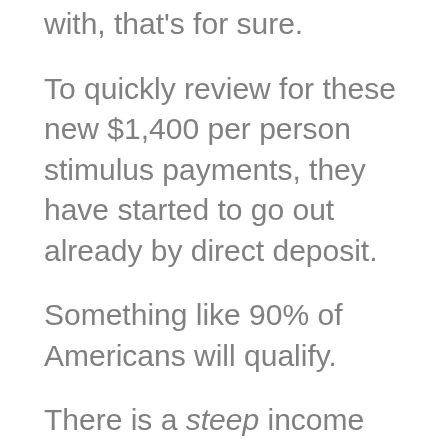with, that's for sure.
To quickly review for these new $1,400 per person stimulus payments, they have started to go out already by direct deposit.
Something like 90% of Americans will qualify.
There is a steep income cutoff for those who will receive these payments ($80K for individuals, and $160K for married filing joint — with the phaseouts beginning at $75K and % 150K respectively). We want to maximize